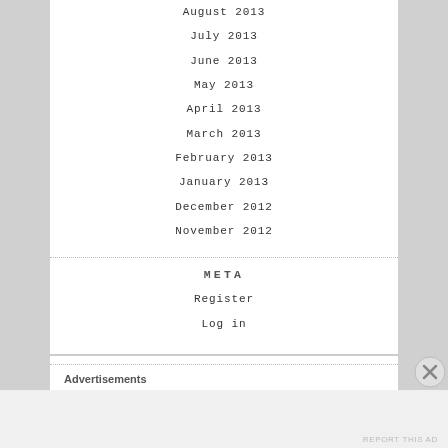August 2013
July 2013
June 2013
May 2013
April 2013
March 2013
February 2013
January 2013
December 2012
November 2012
META
Register
Log in
Advertisements
REPORT THIS AD